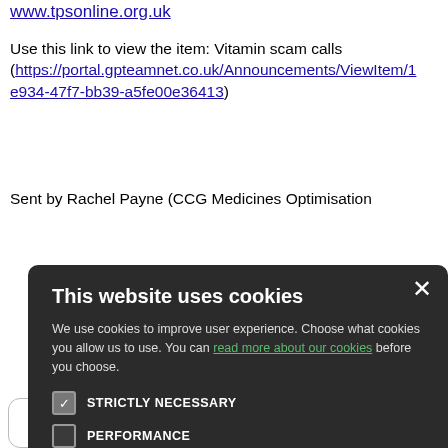www.tpsonline.org.uk
Use this link to view the item: Vitamin scam calls (https://portal.gpteamnet.co.uk/Announcements/ViewItem/1 e934-47f7-bb39-a5fe00e36413)
Sent by Rachel Payne (CCG Medicines Optimisation
[Figure (screenshot): Cookie consent modal dialog with dark background. Title: 'This website uses cookies'. Description text about cookies with a green link 'read more about our cookies'. Four checkboxes: STRICTLY NECESSARY (checked), PERFORMANCE, TARGETING, FUNCTIONALITY. Two buttons: ACCEPT ALL (green) and DECLINE ALL (outlined).]
NHS